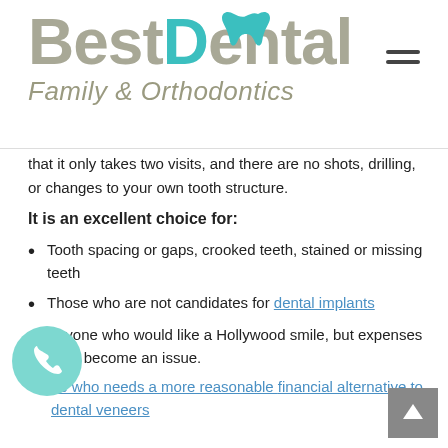[Figure (logo): Best Dental Family & Orthodontics logo with teal tooth icon above the D]
that it only takes two visits, and there are no shots, drilling, or changes to your own tooth structure.
It is an excellent choice for:
Tooth spacing or gaps, crooked teeth, stained or missing teeth
Those who are not candidates for dental implants
Anyone who would like a Hollywood smile, but expenses have become an issue.
Anyone who needs a more reasonable financial alternative to dental veneers